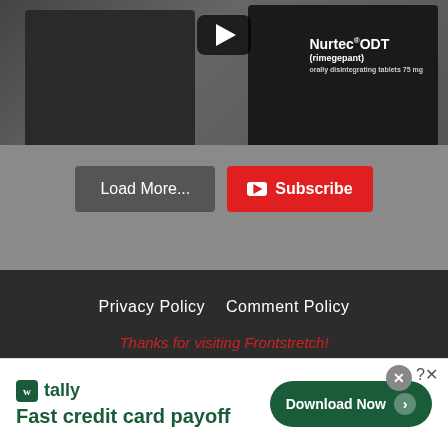[Figure (screenshot): Video thumbnail showing two people: a man in a dark polo shirt with colorful accents on the left, and a person in a Nurtec ODT racing uniform on the right. A YouTube play button overlay is visible at the top center.]
Load More...
Subscribe
Privacy Policy   Comment Policy
Thanks for visiting Frontstretch!
© 2022 Frontstretch.com LLC
[Figure (screenshot): Tally app advertisement banner: 'Fast credit card payoff' with Download Now button and close controls.]